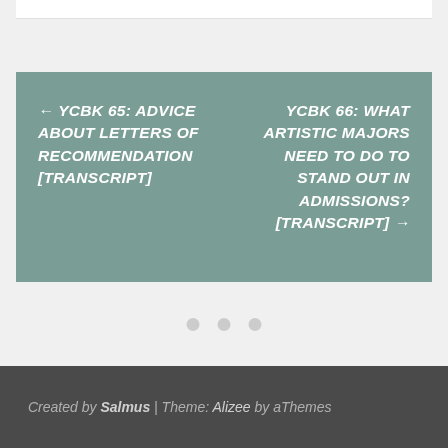← YCBK 65: ADVICE ABOUT LETTERS OF RECOMMENDATION [TRANSCRIPT]
YCBK 66: WHAT ARTISTIC MAJORS NEED TO DO TO STAND OUT IN ADMISSIONS? [TRANSCRIPT] →
Created by Salmus | Theme: Alizee by aThemes